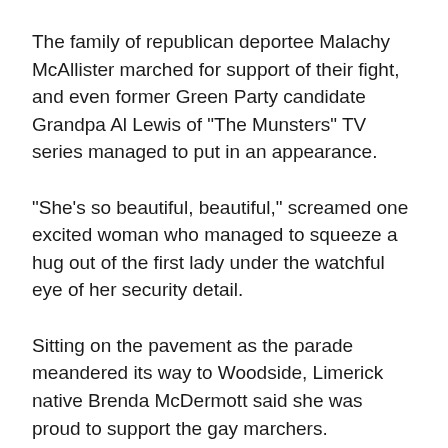The family of republican deportee Malachy McAllister marched for support of their fight, and even former Green Party candidate Grandpa Al Lewis of "The Munsters" TV series managed to put in an appearance.
"She's so beautiful, beautiful," screamed one excited woman who managed to squeeze a hug out of the first lady under the watchful eye of her security detail.
Sitting on the pavement as the parade meandered its way to Woodside, Limerick native Brenda McDermott said she was proud to support the gay marchers.